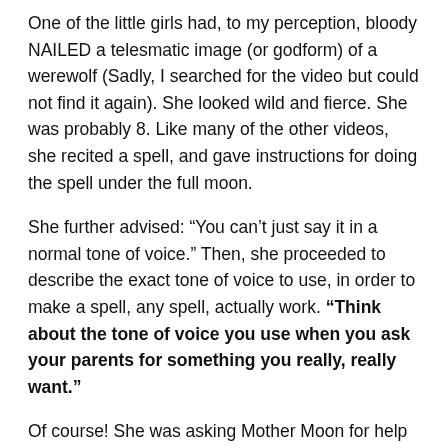One of the little girls had, to my perception, bloody NAILED a telesmatic image (or godform) of a werewolf (Sadly, I searched for the video but could not find it again). She looked wild and fierce. She was probably 8. Like many of the other videos, she recited a spell, and gave instructions for doing the spell under the full moon.
She further advised: “You can’t just say it in a normal tone of voice.” Then, she proceeded to describe the exact tone of voice to use, in order to make a spell, any spell, actually work. “Think about the tone of voice you use when you ask your parents for something you really, really want.”
Of course! She was asking Mother Moon for help with the transformation. It then occurred to me that a ritual